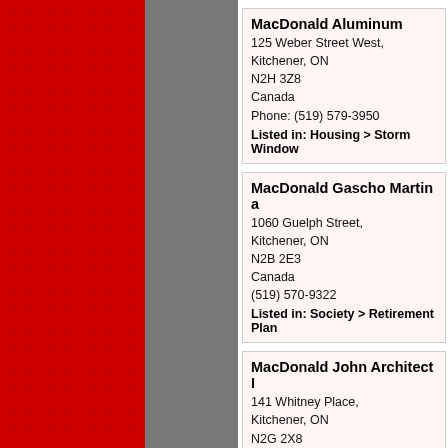MacDonald Aluminum
125 Weber Street West,
Kitchener, ON
N2H 3Z8
Canada
Phone: (519) 579-3950
Listed in: Housing > Storm Window
MacDonald Gascho Martin a
1060 Guelph Street,
Kitchener, ON
N2B 2E3
Canada
(519) 570-9322
Listed in: Society > Retirement Plan
MacDonald John Architect I
141 Whitney Place,
Kitchener, ON
N2G 2X8
Canada
(519) 579-1700
Listed in: Society > Architects direc
MacDonald Rick Siding Inc
300 Trillium Drive,
Kitchener, ON
N2E 2K6
Canada
(519) 896-4747